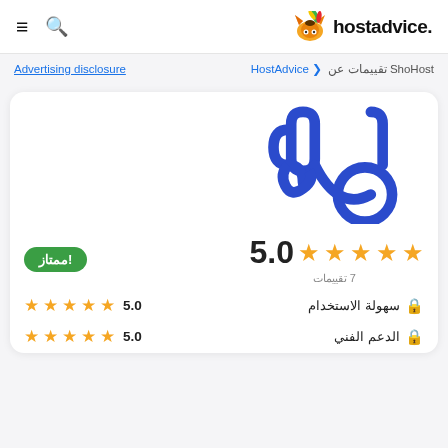≡  🔍  hostadvice.
Advertising disclosure   HostAdvice < تقييمات عن ShoHost
[Figure (logo): ShoHost blue stylized logo mark — abstract shapes resembling scissors and a circle]
!ممتاز   ★★★★★ 5.0   7 تقييمات
سهولة الاستخدام 🔒   ★★★★★ 5.0
الدعم الفني 🔒   ★★★★★ 5.0